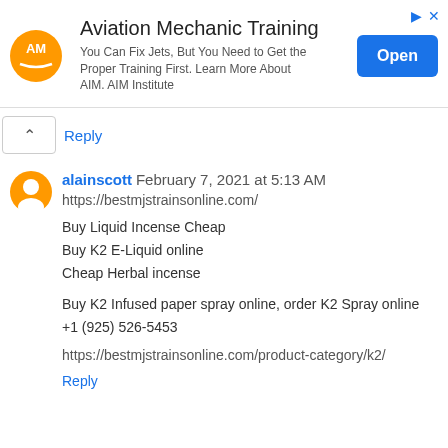[Figure (other): Advertisement banner for Aviation Mechanic Training by AIM Institute with an orange AM logo, Open button, and ad control icons]
Reply
alainscott February 7, 2021 at 5:13 AM
https://bestmjstrainsonline.com/

Buy Liquid Incense Cheap
Buy K2 E-Liquid online
Cheap Herbal incense

Buy K2 Infused paper spray online, order K2 Spray online
+1 (925) 526-5453

https://bestmjstrainsonline.com/product-category/k2/
Reply